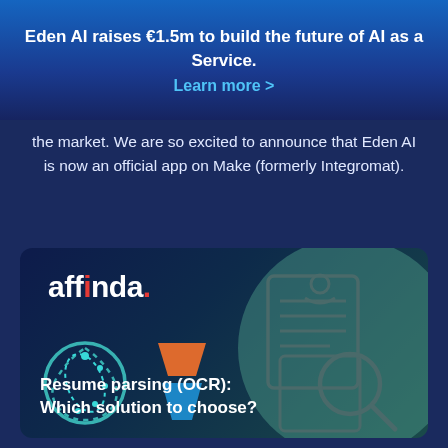Eden AI raises €1.5m to build the future of AI as a Service. Learn more >
the market. We are so excited to announce that Eden AI is now an official app on Make (formerly Integromat).
[Figure (infographic): Affinda brand card with logo, Eden AI and Affinda icons, teal circle background, resume/document icon with magnifying glass, and title 'Resume parsing (OCR): Which solution to choose?']